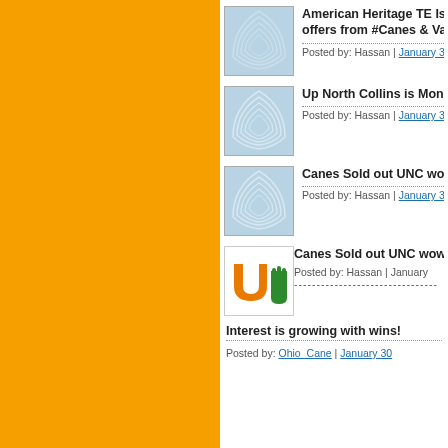[Figure (other): Orange sidebar background]
American Heritage TE Issac ... offers from #Canes & Vandy | Posted by: Hassan | January 30, 20...
Up North Collins is Monday 5... | Posted by: Hassan | January 30, 20...
Canes Sold out UNC wow | Posted by: Hassan | January 30, 20...
Canes Sold out UNC wow | Posted by: Hassan | January...
Interest is growing with wins!
Posted by: Ohio_Cane | January 30...